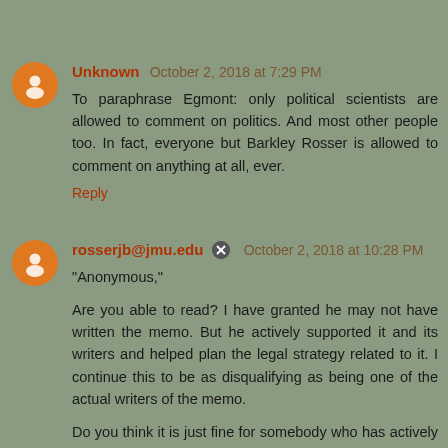Unknown  October 2, 2018 at 7:29 PM
To paraphrase Egmont: only political scientists are allowed to comment on politics. And most other people too. In fact, everyone but Barkley Rosser is allowed to comment on anything at all, ever.
Reply
rosserjb@jmu.edu  October 2, 2018 at 10:28 PM
"Anonymous,"
Are you able to read? I have granted he may not have written the memo. But he actively supported it and its writers and helped plan the legal strategy related to it. I continue this to be as disqualifying as being one of the actual writers of the memo.
Do you think it is just fine for somebody who has actively been involved in developing and supporting a torture policy